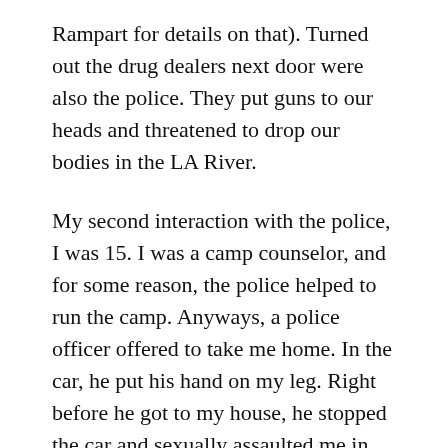Rampart for details on that). Turned out the drug dealers next door were also the police. They put guns to our heads and threatened to drop our bodies in the LA River.
My second interaction with the police, I was 15. I was a camp counselor, and for some reason, the police helped to run the camp. Anyways, a police officer offered to take me home. In the car, he put his hand on my leg. Right before he got to my house, he stopped the car and sexually assaulted me in the car. I had begged my parents to let me have a job. They said they were worried something would happen to me, so I did not tell anyone what happened, and I hung out at the library for the rest of the